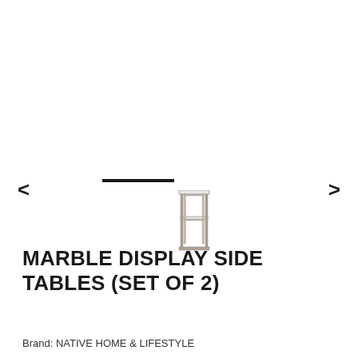[Figure (photo): Small side table with metal frame and marble top, shown as product thumbnail in center of image area]
MARBLE DISPLAY SIDE TABLES (SET OF 2)
Brand: NATIVE HOME & LIFESTYLE